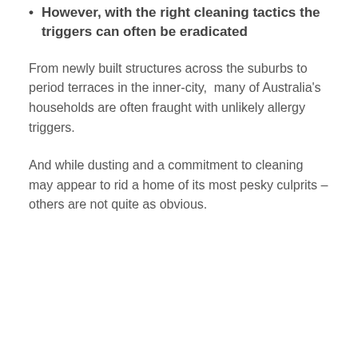However, with the right cleaning tactics the triggers can often be eradicated
From newly built structures across the suburbs to period terraces in the inner-city,  many of Australia's households are often fraught with unlikely allergy triggers.
And while dusting and a commitment to cleaning may appear to rid a home of its most pesky culprits – others are not quite as obvious.